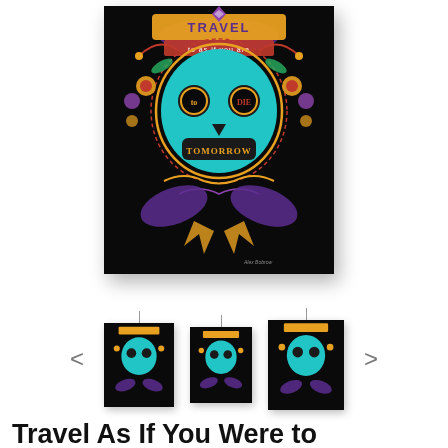[Figure (illustration): Day of the Dead sugar skull poster with colorful decorative design on black background. Text on poster reads 'Travel to Die Tomorrow'. Teal skull with ornate floral and decorative patterns in purple, gold, red, and pink colors.]
[Figure (photo): Three thumbnail previews of the same sugar skull poster shown hanging, in different sizes/views. Navigation arrows on left and right sides.]
Travel As If You Were to